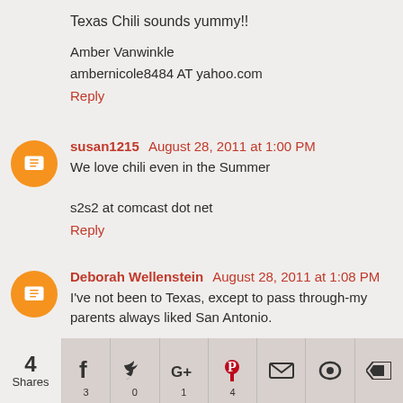Texas Chili sounds yummy!!
Amber Vanwinkle
ambernicole8484 AT yahoo.com
Reply
susan1215  August 28, 2011 at 1:00 PM
We love chili even in the Summer

s2s2 at comcast dot net
Reply
Deborah Wellenstein  August 28, 2011 at 1:08 PM
I've not been to Texas, except to pass through-my parents always liked San Antonio.
[Figure (infographic): Social share bar with 4 Shares count, Facebook, Twitter, Google+, Pinterest (4), email, Blogger, and crown icons]